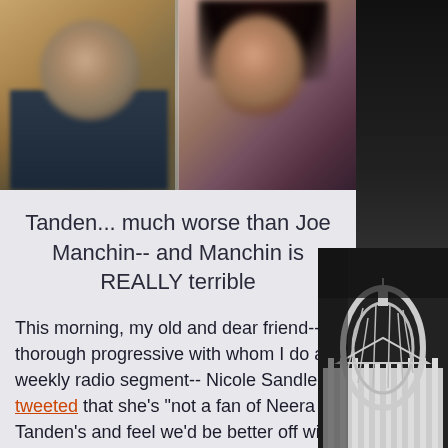[Figure (photo): Two blurred/pixelated headshots side by side: a man on the left (Joe Manchin) and a woman on the right (Neera Tanden)]
Tanden... much worse than Joe Manchin-- and Manchin is REALLY terrible
This morning, my old and dear friend-- a thorough progressive with whom I do a weekly radio segment-- Nicole Sandler, tweeted that she's "not a fan of Neera Tanden's and feel we'd be better off with someone else heading OMB."
[Figure (photo): US Capitol building dome shown in black and white on the right side of the page]